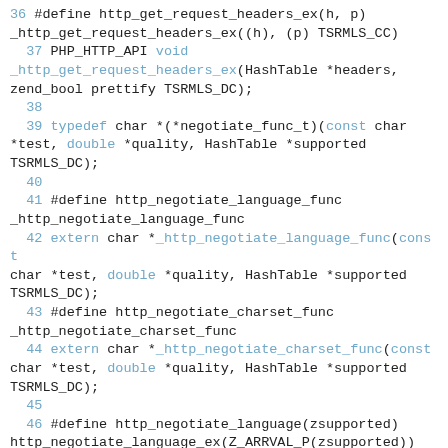Code snippet showing C header definitions for HTTP negotiation functions, lines 36-47